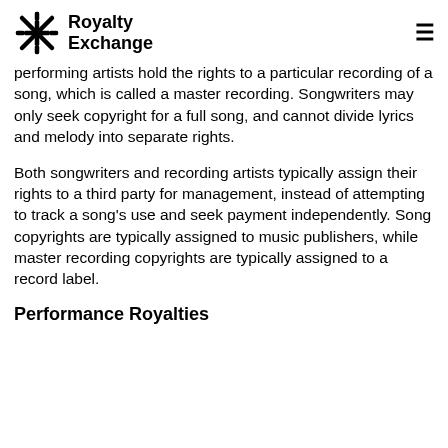Royalty Exchange
performing artists hold the rights to a particular recording of a song, which is called a master recording. Songwriters may only seek copyright for a full song, and cannot divide lyrics and melody into separate rights.
Both songwriters and recording artists typically assign their rights to a third party for management, instead of attempting to track a song's use and seek payment independently. Song copyrights are typically assigned to music publishers, while master recording copyrights are typically assigned to a record label.
Performance Royalties